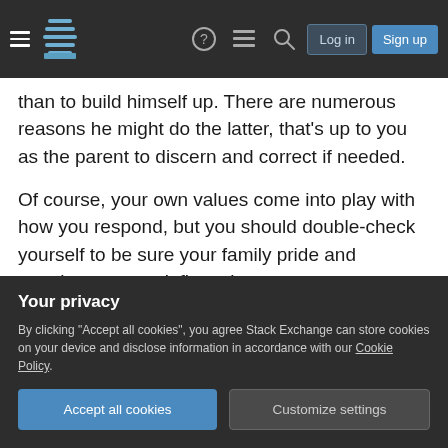Stack Exchange navigation bar with hamburger menu, logo, help, chat, search icons, Log in and Sign up buttons
than to build himself up. There are numerous reasons he might do the latter, that's up to you as the parent to discern and correct if needed.
Of course, your own values come into play with how you respond, but you should double-check yourself to be sure your family pride and emotions are not influencing your response.
Have you done the exercise where you play out all the possible scenarios with him? What if you did this, what might they do, what might the teacher
Your privacy
By clicking "Accept all cookies", you agree Stack Exchange can store cookies on your device and disclose information in accordance with our Cookie Policy.
Accept all cookies
Customize settings